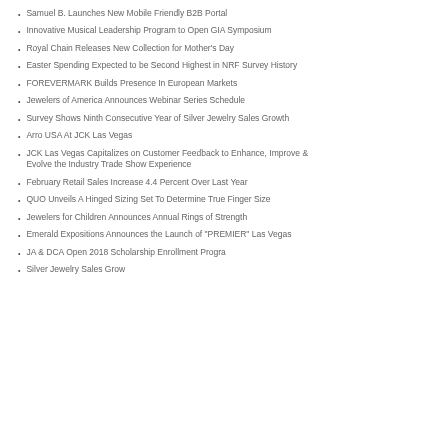Samuel B. Launches New Mobile Friendly B2B Portal
Innovative Musical Leadership Program to Open GIA Symposium
Royal Chain Releases New Collection for Mother's Day
Easter Spending Expected to be Second Highest in NRF Survey History
FOREVERMARK Builds Presence In European Markets
Jewelers of America Announces Webinar Series Schedule
Survey Shows Ninth Consecutive Year of Silver Jewelry Sales Growth
Arro USA At JCK Las Vegas
JCK Las Vegas Capitalizes on Customer Feedback to Enhance, Improve & Evolve the Industry Trade Show Experience
February Retail Sales Increase 4.4 Percent Over Last Year
QUO Unveils A Hinged Sizing Set To Determine True Finger Size
Jewelers for Children Announces Annual Rings of Strength
Emerald Expositions Announces the Launch of "PREMIER" Las Vegas
JA & DCA Open 2018 Scholarship Enrollment Progra
Silver Jewelry Sales Grow